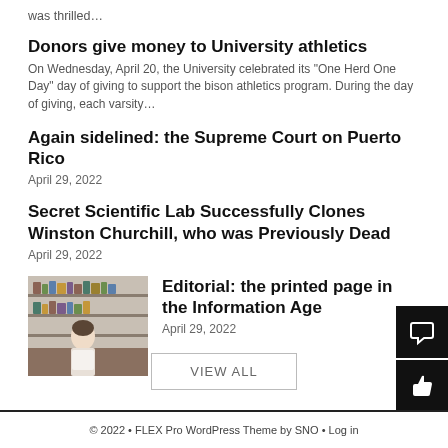was thrilled…
Donors give money to University athletics
On Wednesday, April 20, the University celebrated its "One Herd One Day" day of giving to support the bison athletics program. During the day of giving, each varsity…
Again sidelined: the Supreme Court on Puerto Rico
April 29, 2022
Secret Scientific Lab Successfully Clones Winston Churchill, who was Previously Dead
April 29, 2022
[Figure (photo): A person sitting at a desk in a library or office with shelves of books/items in the background]
Editorial: the printed page in the Information Age
April 29, 2022
VIEW ALL
© 2022 • FLEX Pro WordPress Theme by SNO • Log in